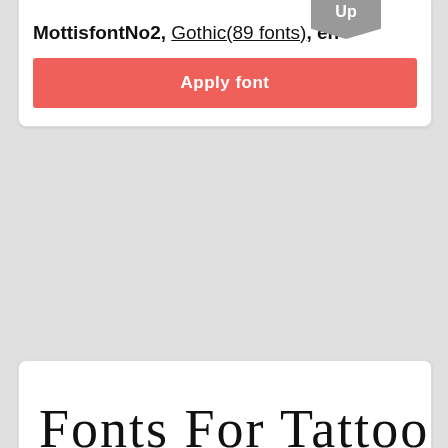[Figure (screenshot): Up navigation badge/button in grey with downward arrow shape]
MottisfontNo2, Gothic(89 fonts), en
[Figure (screenshot): Apply font button - red/salmon colored button]
[Figure (illustration): Calligraphy font preview showing Fonts For Tattoo Online]
Esenin_script_one, Calligraphy(69 fonts), ru/en
[Figure (screenshot): Apply font button - red/salmon colored button]
[Figure (illustration): Font preview showing ALL STAR in bold gothic/tattoo style]